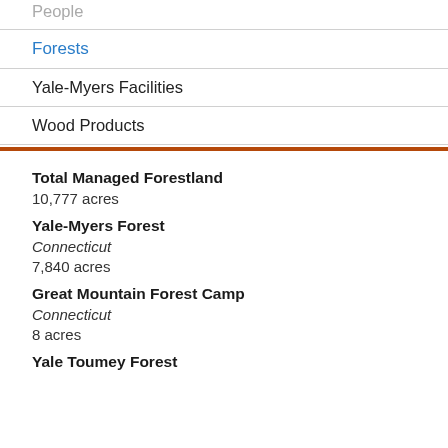People
Forests
Yale-Myers Facilities
Wood Products
Total Managed Forestland
10,777 acres
Yale-Myers Forest
Connecticut
7,840 acres
Great Mountain Forest Camp
Connecticut
8 acres
Yale Toumey Forest